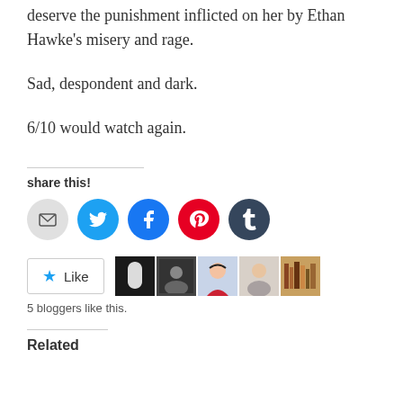deserve the punishment inflicted on her by Ethan Hawke's misery and rage.
Sad, despondent and dark.
6/10 would watch again.
share this!
[Figure (infographic): Row of five social share icon circles: email (grey), Twitter (blue), Facebook (blue), Pinterest (red), Tumblr (dark navy)]
[Figure (infographic): WordPress Like button with star icon and 5 blogger avatar thumbnail photos beside it]
5 bloggers like this.
Related